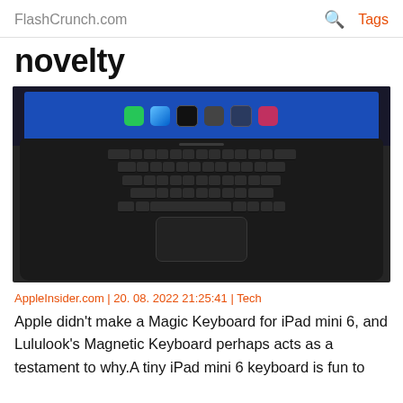FlashCrunch.com  🔍  Tags
novelty
[Figure (photo): iPad mini with a Lululook Magnetic Keyboard case showing the keyboard and trackpad, viewed from above at an angle on a dark surface.]
AppleInsider.com | 20. 08. 2022 21:25:41 | Tech
Apple didn't make a Magic Keyboard for iPad mini 6, and Lululook's Magnetic Keyboard perhaps acts as a testament to why.A tiny iPad mini 6 keyboard is fun to